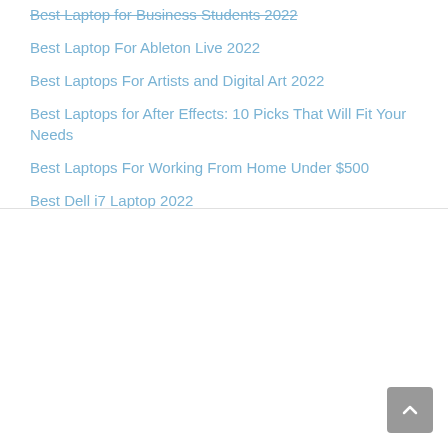Best Laptop for Business Students 2022
Best Laptop For Ableton Live 2022
Best Laptops For Artists and Digital Art 2022
Best Laptops for After Effects: 10 Picks That Will Fit Your Needs
Best Laptops For Working From Home Under $500
Best Dell i7 Laptop 2022